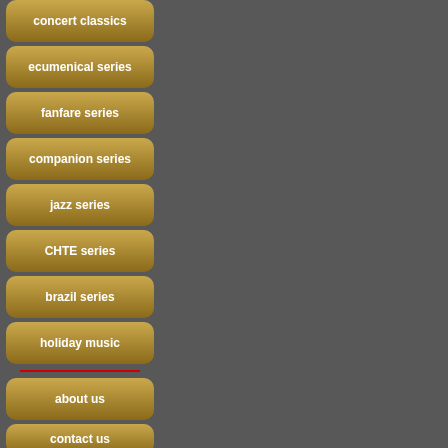concert classics
ecumenical series
fanfare series
companion series
jazz series
CHTE series
brazil series
holiday music
about us
contact us